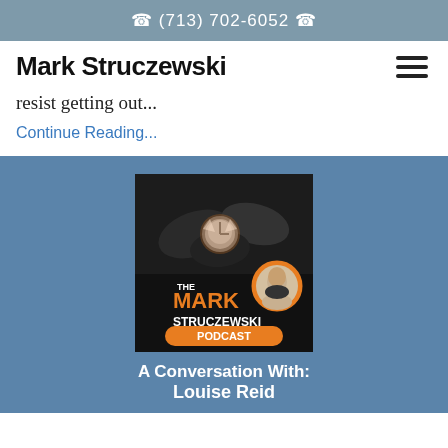☎ (713) 702-6052 ☎
Mark Struczewski
resist getting out...
Continue Reading...
[Figure (photo): The Mark Struczewski Podcast cover image showing hands with clocks/watches, with a circular headshot, logo text 'THE MARK STRUCZEWSKI PODCAST' in orange and white]
A Conversation With: Louise Reid